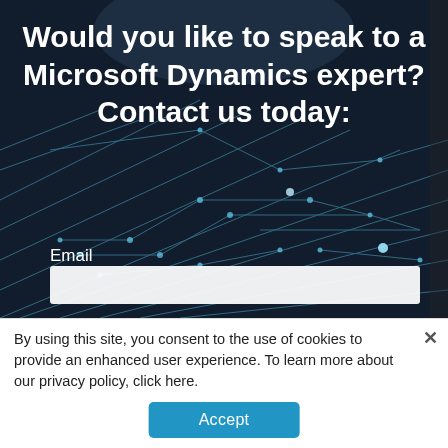[Figure (screenshot): Dark circuit board background image with glowing blue circuit traces and nodes]
Would you like to speak to a Microsoft Dynamics expert? Contact us today:
Email
By using this site, you consent to the use of cookies to provide an enhanced user experience. To learn more about our privacy policy, click here.
Accept